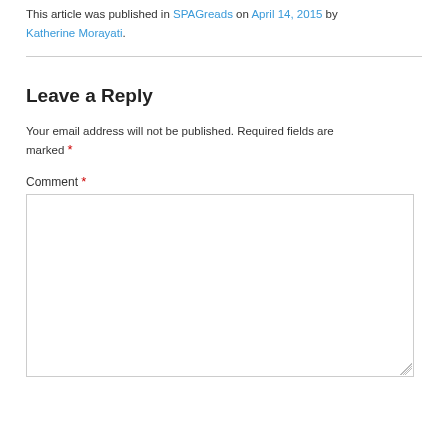This article was published in SPAGreads on April 14, 2015 by Katherine Morayati.
Leave a Reply
Your email address will not be published. Required fields are marked *
Comment *